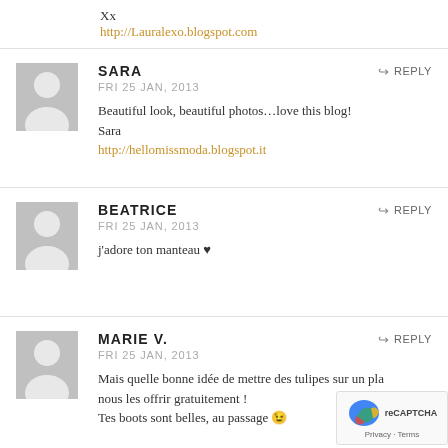Xx
http://Lauralexo.blogspot.com
SARA
FRI 25 JAN, 2013
Beautiful look, beautiful photos…love this blog!
Sara
http://hellomissmoda.blogspot.it
BEATRICE
FRI 25 JAN, 2013
j'adore ton manteau ♥
MARIE V.
FRI 25 JAN, 2013
Mais quelle bonne idée de mettre des tulipes sur un pla…
nous les offrir gratuitement !
Tes boots sont belles, au passage 😉